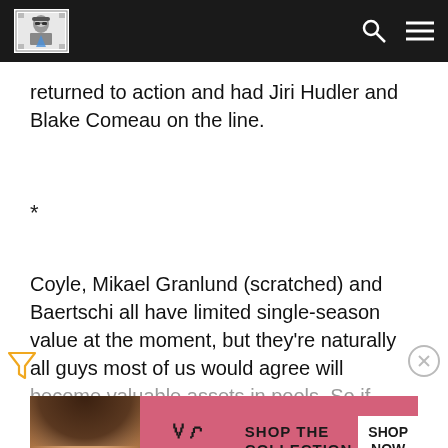[Navigation bar with logo, search and menu icons]
returned to action and had Jiri Hudler and Blake Comeau on the line.
*
Coyle, Mikael Granlund (scratched) and Baertschi all have limited single-season value at the moment, but they're naturally all guys most of us would agree will become valuable assets in pools. So if you're a keeper league those see what it might take to get them. Maybe one of your
[Figure (screenshot): Victoria's Secret advertisement banner with model, VS logo, 'SHOP THE COLLECTION' text, and 'SHOP NOW' button]